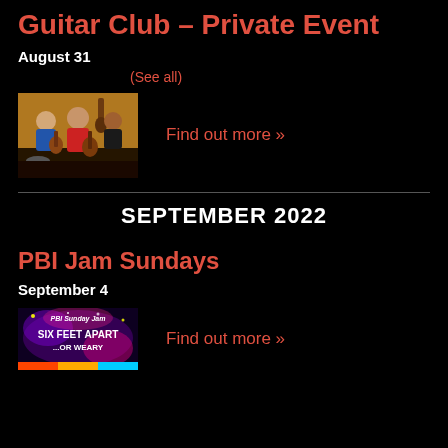Guitar Club – Private Event
August 31
(See all)
[Figure (photo): Two musicians playing guitars in an indoor setting]
Find out more »
SEPTEMBER 2022
PBI Jam Sundays
September 4
[Figure (photo): PBI Sunday Jam poster with text 'Six Feet Apart' and other text on colorful background]
Find out more »